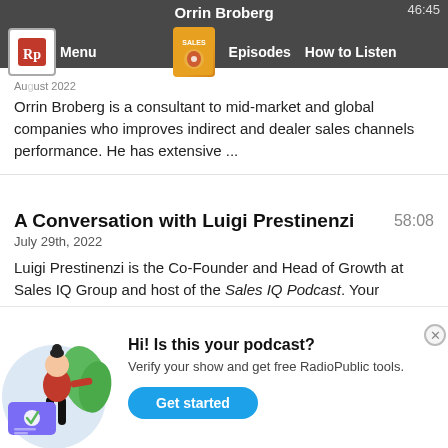Orrin Broberg
Orrin Broberg is a consultant to mid-market and global companies who improves indirect and dealer sales channels performance. He has extensive ...
A Conversation with Luigi Prestinenzi
July 29th, 2022
Luigi Prestinenzi is the Co-Founder and Head of Growth at Sales IQ Group and host of the Sales IQ Podcast. Your mindset can either create amazing ...
[Figure (illustration): Illustration of a woman in a red shirt standing next to a large checkmark card, with green leaves in the background, on a light blue circular background]
Hi! Is this your podcast? Verify your show and get free RadioPublic tools. Get started